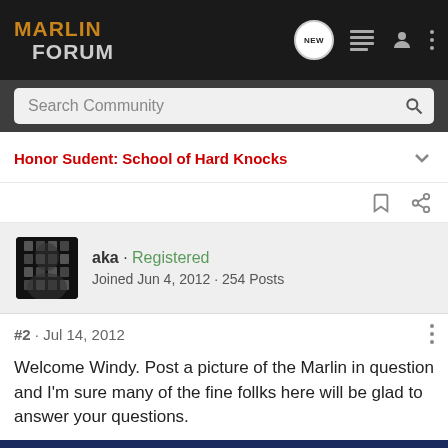MARLIN FORUM
Search Community
Honor Sudent: School of Hard Knocks
aka · Registered
Joined Jun 4, 2012 · 254 Posts
#2 · Jul 14, 2012
Welcome Windy. Post a picture of the Marlin in question and I'm sure many of the fine follks here will be glad to answer your questions.
[Figure (photo): Advertisement banner for Kel-Tec CP33 pistol with text: SEEKING LONG RANGE RELATIONSHIP THE CP33 PISTOL]